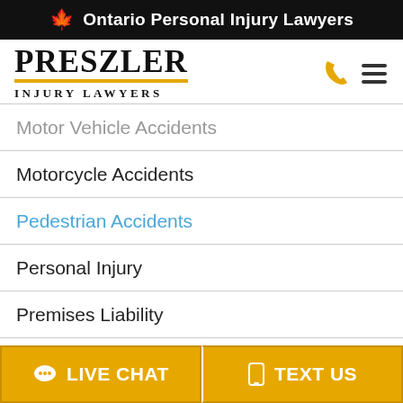🍁 Ontario Personal Injury Lawyers
[Figure (logo): Preszler Injury Lawyers logo with phone icon and hamburger menu]
Motor Vehicle Accidents
Motorcycle Accidents
Pedestrian Accidents
Personal Injury
Premises Liability
LIVE CHAT   TEXT US